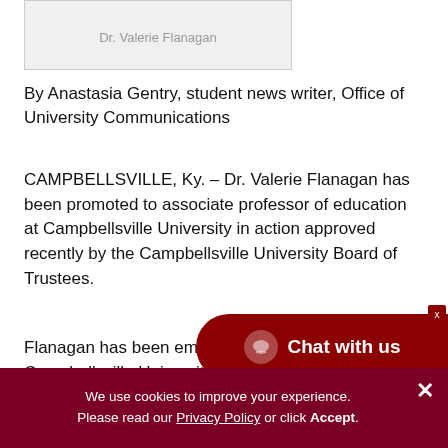[Figure (photo): Photo of Dr. Valerie Flanagan (partially visible at top, showing blue clothing)]
Dr. Valerie Flanagan
By Anastasia Gentry, student news writer, Office of University Communications
CAMPBELLSVILLE, Ky. – Dr. Valerie Flanagan has been promoted to associate professor of education at Campbellsville University in action approved recently by the Campbellsville University Board of Trustees.
Flanagan has been employed since 2016 at Campbellsville University ... of education.
[Figure (other): Chat with us button overlay (dark red rounded button with chat icon)]
We use cookies to improve your experience. Please read our Privacy Policy or click Accept.